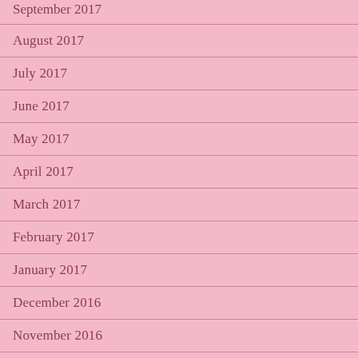September 2017
August 2017
July 2017
June 2017
May 2017
April 2017
March 2017
February 2017
January 2017
December 2016
November 2016
October 2016